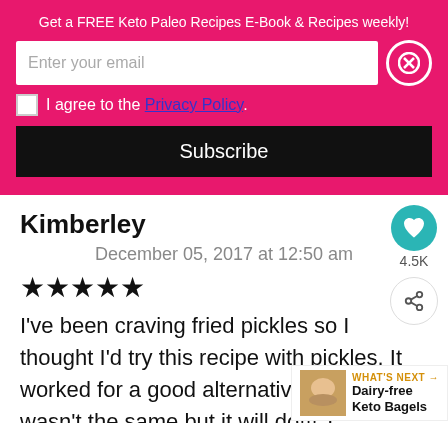Get a FREE Keto Paleo Recipes E-Book & Recipes weekly!
Enter your email
I agree to the Privacy Policy.
Subscribe
Kimberley
December 05, 2017 at 12:50 am
★★★★★
I've been craving fried pickles so I thought I'd try this recipe with pickles. It worked for a good alternative, obviously wasn't the same but it will do!!! Thank you for the recipe!!!
4.5K
WHAT'S NEXT → Dairy-free Keto Bagels